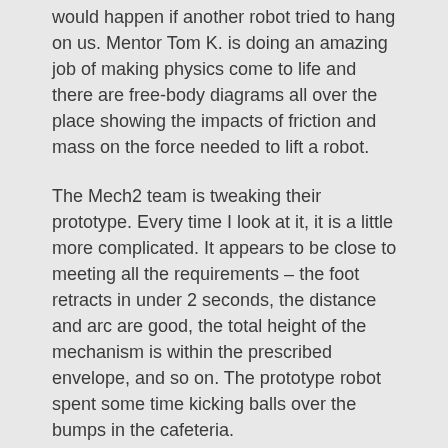would happen if another robot tried to hang on us. Mentor Tom K. is doing an amazing job of making physics come to life and there are free-body diagrams all over the place showing the impacts of friction and mass on the force needed to lift a robot.
The Mech2 team is tweaking their prototype. Every time I look at it, it is a little more complicated. It appears to be close to meeting all the requirements – the foot retracts in under 2 seconds, the distance and arc are good, the total height of the mechanism is within the prescribed envelope, and so on. The prototype robot spent some time kicking balls over the bumps in the cafeteria.
Mike H. on the electrical team spent some of the time drawing wires, and being frustrated about drawing wires. The team is starting to plan how the control system will fit into the drive-train. The controls team is continuing to model the components, picked out buttons and ordered toggle switches.
The programming team worked on the software to move the